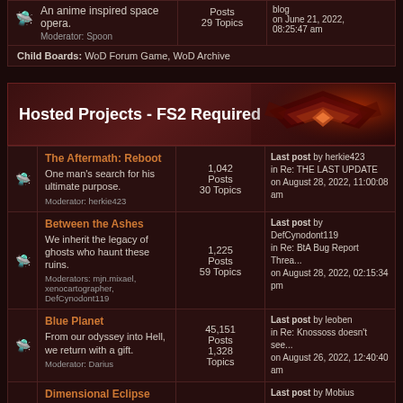| Forum | Stats | Last Post |
| --- | --- | --- |
| An anime inspired space opera.
Moderator: Spoon | Posts
29 Topics | blog
on June 21, 2022, 08:25:47 am |
| Child Boards: WoD Forum Game, WoD Archive |  |  |
Hosted Projects - FS2 Required
| Forum | Stats | Last Post |
| --- | --- | --- |
| The Aftermath: Reboot
One man's search for his ultimate purpose.
Moderator: herkie423 | 1,042 Posts
30 Topics | Last post by herkie423 in Re: THE LAST UPDATE on August 28, 2022, 11:00:08 am |
| Between the Ashes
We inherit the legacy of ghosts who haunt these ruins.
Moderators: mjn.mixael, xenocartographer, DefCynodont119 | 1,225 Posts
59 Topics | Last post by DefCynodont119 in Re: BtA Bug Report Threa... on August 28, 2022, 02:15:34 pm |
| Blue Planet
From our odyssey into Hell, we return with a gift.
Moderator: Darius | 45,151 Posts
1,328 Topics | Last post by leoben in Re: Knossoss doesn't see... on August 26, 2022, 12:40:40 am |
| Dimensional Eclipse
An anime themed mod featuring high | 1,237 | Last post by Mobius |